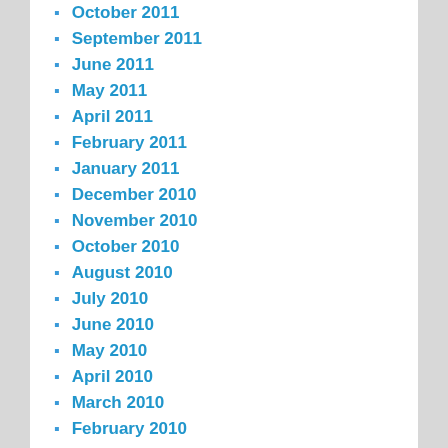October 2011
September 2011
June 2011
May 2011
April 2011
February 2011
January 2011
December 2010
November 2010
October 2010
August 2010
July 2010
June 2010
May 2010
April 2010
March 2010
February 2010
December 2009
November 2009
October 2009
August 2009
July 2009